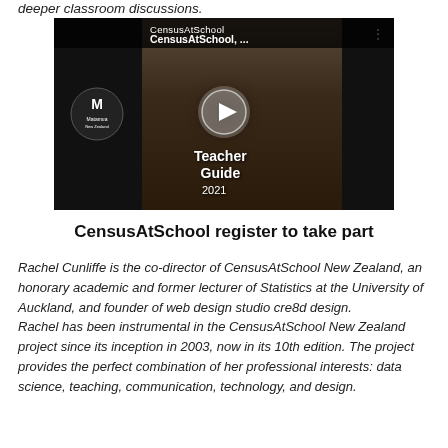deeper classroom discussions.
[Figure (screenshot): Video thumbnail for CensusAtSchool Teacher Guide 2021, showing a person with a play button overlay. Left panel shows CensusAtSchool logo, top bar shows 'CensusAtSchool, ...' title with menu dots, and bottom shows 'Teacher Guide 2021' text.]
CensusAtSchool register to take part
Rachel Cunliffe is the co-director of CensusAtSchool New Zealand, an honorary academic and former lecturer of Statistics at the University of Auckland, and founder of web design studio cre8d design.
Rachel has been instrumental in the CensusAtSchool New Zealand project since its inception in 2003, now in its 10th edition. The project provides the perfect combination of her professional interests: data science, teaching, communication, technology, and design.